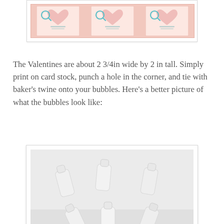[Figure (photo): Three pink Valentine cards with teal magnifying glass designs arranged in a row, shown inside a white framed photo box]
The Valentines are about 2 3/4in wide by 2 in tall. Simply print on card stock, punch a hole in the corner, and tie with baker's twine onto your bubbles. Here's a better picture of what the bubbles look like:
[Figure (photo): Small white plastic bubble bottles scattered on a white surface, photographed from above inside a white framed photo box]
They turned out so cute! I'm sure the kids won't miss the candy, they'll be getting plenty more that day. Plus, I always love to have bubbles on hand for entertaining my kids during